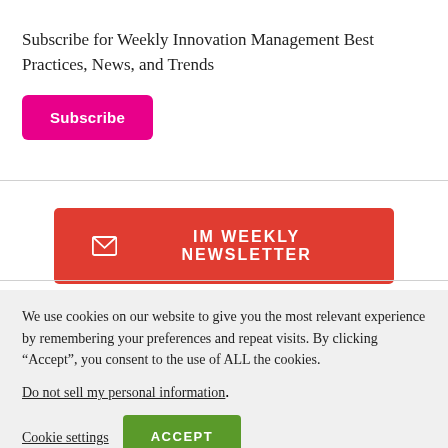Subscribe for Weekly Innovation Management Best Practices, News, and Trends
Subscribe
[Figure (other): Red button with envelope icon labeled IM WEEKLY NEWSLETTER]
We use cookies on our website to give you the most relevant experience by remembering your preferences and repeat visits. By clicking “Accept”, you consent to the use of ALL the cookies.
Do not sell my personal information.
Cookie settings
ACCEPT